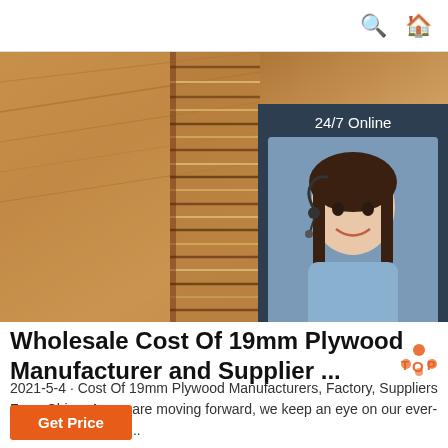🔍 🏠
[Figure (photo): Close-up photo of stacked plywood sheets showing layers/laminations at the edge, with a warm brown wood grain texture. An overlaid chat widget on the right side shows a customer service representative with headset, '24/7 Online' text, 'Click here for free chat!', and an orange QUOTATION button.]
Wholesale Cost Of 19mm Plywood Manufacturer and Supplier ...
2021-5-4 · Cost Of 19mm Plywood Manufacturers, Factory, Suppliers From China, As we are moving forward, we keep an eye on our ever-expanding product ...
[Figure (other): Orange 'Get Price' button at bottom left]